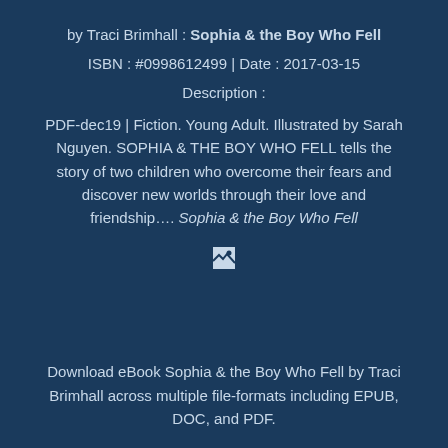by Traci Brimhall : Sophia & the Boy Who Fell
ISBN : #0998612499 | Date : 2017-03-15
Description :
PDF-dec19 | Fiction. Young Adult. Illustrated by Sarah Nguyen. SOPHIA & THE BOY WHO FELL tells the story of two children who overcome their fears and discover new worlds through their love and friendship…. Sophia & the Boy Who Fell
[Figure (other): Broken image icon]
Download eBook Sophia & the Boy Who Fell by Traci Brimhall across multiple file-formats including EPUB, DOC, and PDF.